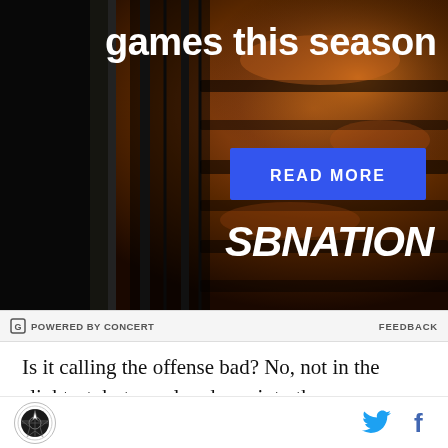[Figure (photo): SBNation advertisement banner showing grilled/barbecued meat on a grill with dark overlay on left side, 'games this season' text at top, a blue 'READ MORE' button, and SBNATION logo at bottom]
G POWERED BY CONCERT    FEEDBACK
Is it calling the offense bad? No, not in the slightest, but we already go into the game knowing the offense puts such a huge strain on the defense, Dave Clawson has touched on it multiple times throughout the years, former players I've talked to have said as much, that if you're going to run that many plays and at that fact of a
[Figure (logo): Site logo circle with compass/arrow icon and social media icons for Twitter and Facebook]